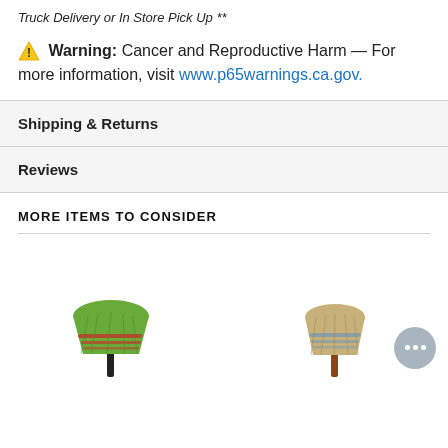Truck Delivery or In Store Pick Up **
⚠ Warning: Cancer and Reproductive Harm — For more information, visit www.p65warnings.ca.gov.
Shipping & Returns
Reviews
MORE ITEMS TO CONSIDER
[Figure (photo): Green corn broom with black handle]
[Figure (photo): Natural tan corn broom with wooden handle]